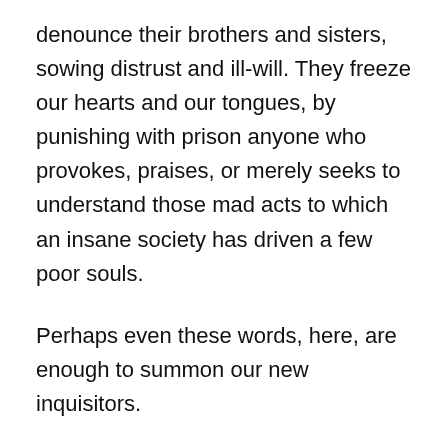denounce their brothers and sisters, sowing distrust and ill-will. They freeze our hearts and our tongues, by punishing with prison anyone who provokes, praises, or merely seeks to understand those mad acts to which an insane society has driven a few poor souls.
Perhaps even these words, here, are enough to summon our new inquisitors.
If so, I say, let them come. I know their jail cells; their guards are my comrades and friends. Scoundrel laws, like the scoundrels who created